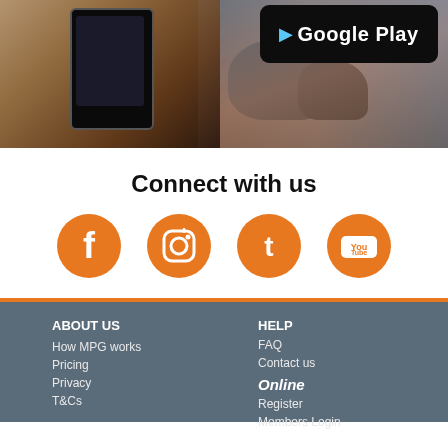[Figure (photo): Hero image showing a hand holding a smartphone with Google Play badge in the top right corner and a scenic rocky coastal background]
Connect with us
[Figure (infographic): Row of four orange circular social media icons: Facebook, Instagram, Twitter, YouTube]
ABOUT US
How MPG works
Pricing
Privacy
T&Cs
HELP
FAQ
Contact us
Online
Register
Members Login